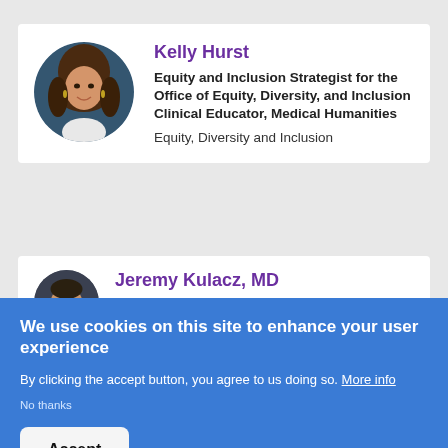[Figure (photo): Circular headshot of Kelly Hurst, a woman with long brown hair, smiling, wearing earrings and a white top against a dark blue background.]
Kelly Hurst
Equity and Inclusion Strategist for the Office of Equity, Diversity, and Inclusion Clinical Educator, Medical Humanities
Equity, Diversity and Inclusion
[Figure (photo): Circular headshot of Jeremy Kulacz, MD, a man with short hair against a dark background.]
Jeremy Kulacz, MD
We use cookies on this site to enhance your user experience
By clicking the accept button, you agree to us doing so. More info
No thanks
Accept